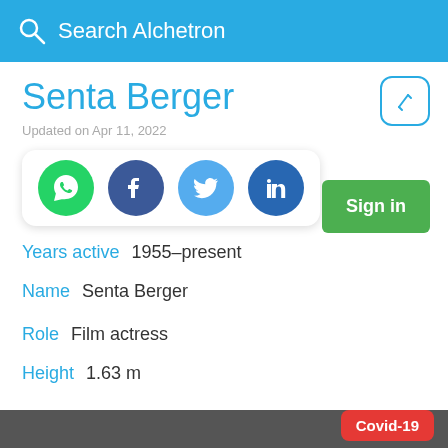Search Alchetron
Senta Berger
Updated on Apr 11, 2022
[Figure (other): Social share buttons: WhatsApp, Facebook, Twitter, LinkedIn]
Years active  1955–present
Name  Senta Berger
Role  Film actress
Height  1.63 m
Covid-19